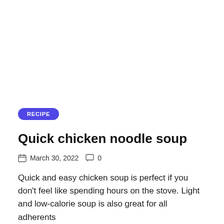RECIPE
Quick chicken noodle soup
March 30, 2022   0
Quick and easy chicken soup is perfect if you don't feel like spending hours on the stove. Light and low-calorie soup is also great for all adherents